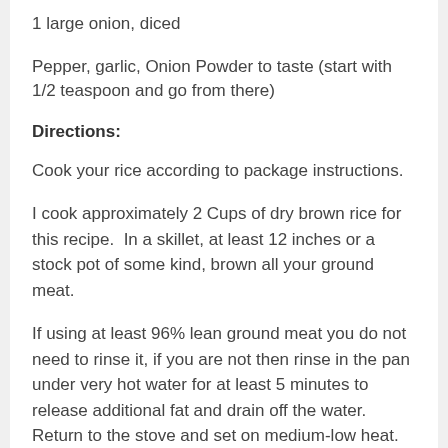1 large onion, diced
Pepper, garlic, Onion Powder to taste (start with 1/2 teaspoon and go from there)
Directions:
Cook your rice according to package instructions.
I cook approximately 2 Cups of dry brown rice for this recipe.  In a skillet, at least 12 inches or a stock pot of some kind, brown all your ground meat.
If using at least 96% lean ground meat you do not need to rinse it, if you are not then rinse in the pan under very hot water for at least 5 minutes to release additional fat and drain off the water.  Return to the stove and set on medium-low heat.
Add diced onions, cooked rice, and green beans.  Soy sauce alternative, and other seasonings and heat through. Adjust seasonings to taste.